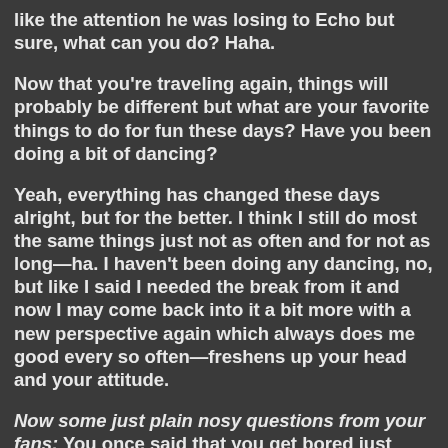like the attention he was losing to Echo but sure, what can you do? Haha.
Now that you're traveling again, things will probably be different but what are your favorite things to do for fun these days? Have you been doing a bit of dancing?
Yeah, everything has changed these days alright, but for the better. I think I still do most the same things just not as often and for not as long—ha. I haven't been doing any dancing, no, but like I said I needed the break from it and now I may come back into it a bit more with a new perspective again which always does me good every so often—freshens up your head and your attitude.
Now some just plain nosy questions from your fans: You once said that you get bored just thinking about golf. What about pool? Have you ever tried billiards